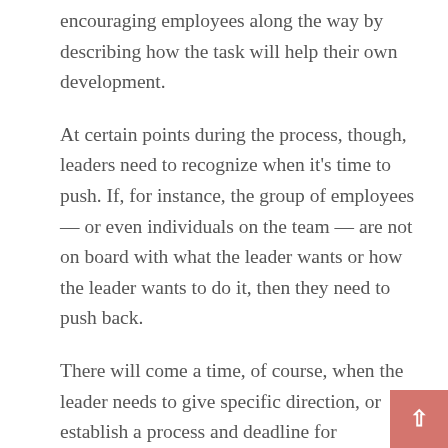encouraging employees along the way by describing how the task will help their own development.
At certain points during the process, though, leaders need to recognize when it's time to push. If, for instance, the group of employees — or even individuals on the team — are not on board with what the leader wants or how the leader wants to do it, then they need to push back.
There will come a time, of course, when the leader needs to give specific direction, or establish a process and deadline for accomplishing a task in a certain way.
The reason why the push-and-pull technique